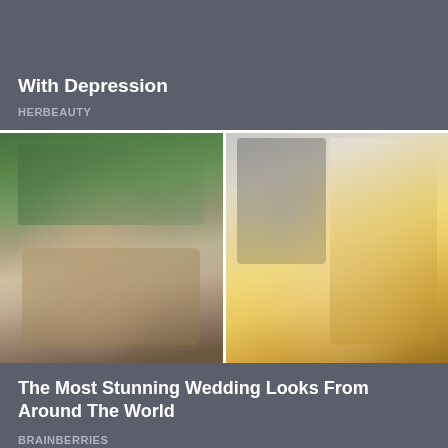With Depression
HERBEAUTY
[Figure (photo): Two wedding photos side by side: left shows a woman in traditional cultural bridal attire with ornate beaded headdress and face decorations; right shows a groom in black-and-white suit next to a bride in elaborate gold-coin-covered white veil dress.]
The Most Stunning Wedding Looks From Around The World
BRAINBERRIES
[Figure (photo): Autumn trees with orange, yellow and green foliage against a blue sky, with a dark figure partially visible at the bottom.]